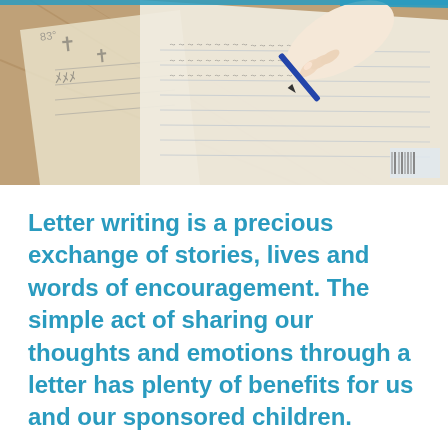[Figure (photo): A hand holding a pen writing on paper, with lined notebook pages and a wooden surface visible in the background. The image is photographed at an angle.]
Letter writing is a precious exchange of stories, lives and words of encouragement. The simple act of sharing our thoughts and emotions through a letter has plenty of benefits for us and our sponsored children.
01 APR, 2020